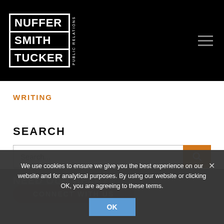[Figure (logo): Nuffer Smith Tucker Public Relations logo in white on black background]
WRITING
SEARCH
[Figure (screenshot): Search input field with orange search button]
NEED OUR HELP?
CONNECT WITH US
We use cookies to ensure we give you the best experience on our website and for analytical purposes. By using our website or clicking OK, you are agreeing to these terms.
OK